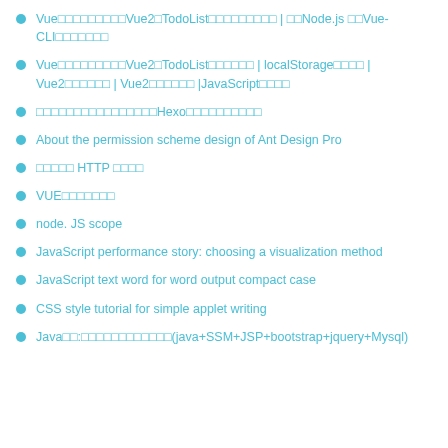GitHub□□ | □□□□□□□□□□
Vue□□□□□□□□□Vue2□TodoList□□□□□□□□□ | □□Node.js □□Vue-CLI□□□□□□□
Vue□□□□□□□□□Vue2□TodoList□□□□□□ | localStorage□□□□ | Vue2□□□□□□ | Vue2□□□□□□ |JavaScript□□□□
□□□□□□□□□□□□□□□□Hexo□□□□□□□□□□
About the permission scheme design of Ant Design Pro
□□□□□ HTTP □□□□
VUE□□□□□□□
node. JS scope
JavaScript performance story: choosing a visualization method
JavaScript text word for word output compact case
CSS style tutorial for simple applet writing
Java□□:□□□□□□□□□□□□(java+SSM+JSP+bootstrap+jquery+Mysql)